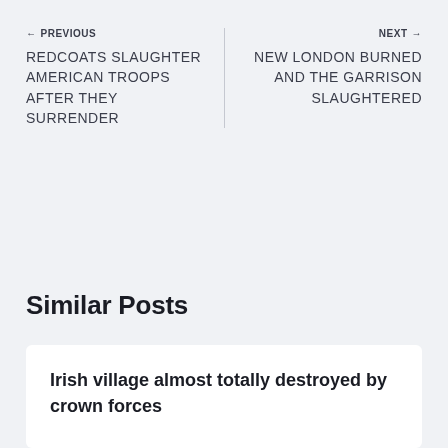← PREVIOUS
REDCOATS SLAUGHTER AMERICAN TROOPS AFTER THEY SURRENDER
NEXT →
NEW LONDON BURNED AND THE GARRISON SLAUGHTERED
Similar Posts
Irish village almost totally destroyed by crown forces